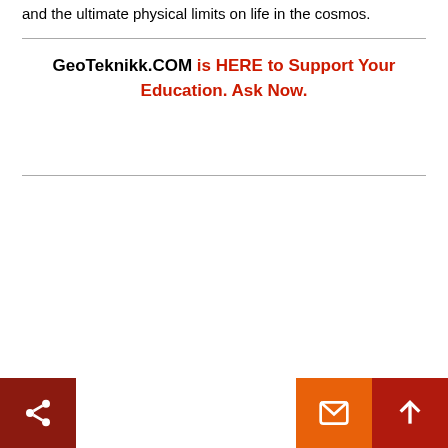and the ultimate physical limits on life in the cosmos.
GeoTeknikk.COM is HERE to Support Your Education. Ask Now.
[Figure (other): Three action buttons at the bottom: a dark red share button on the left, and an orange email button and dark red up-arrow button on the right.]